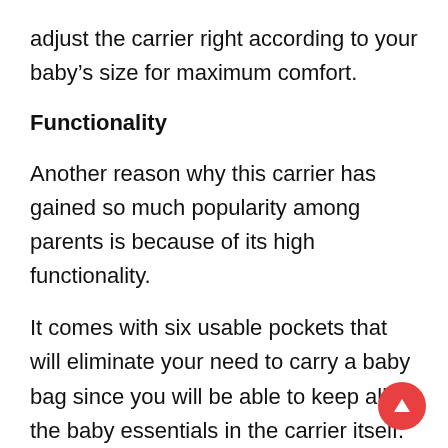adjust the carrier right according to your baby’s size for maximum comfort.
Functionality
Another reason why this carrier has gained so much popularity among parents is because of its high functionality.
It comes with six usable pockets that will eliminate your need to carry a baby bag since you will be able to keep all the baby essentials in the carrier itself.